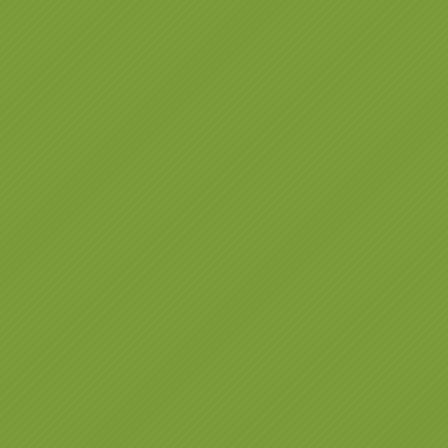[Figure (other): Green textured panel on the left side of the page]
Corvuscorva Nightfire: Eustress...v
Corvuscorva Nightfire nods...and n
Fael Illyar: Gen, I think we agree, b attachment the way I see it.
genesis Zhangsun: Hmm yes I thi
genesis Zhangsun: too
genesis Zhangsun: I feel the strug
genesis Zhangsun: because to cut
Fael Illyar: It doesn't feel like a str
Fael Illyar: also doesn't feel like cu
genesis Zhangsun: Hmm yes so h
Fael Illyar: more like relaxing a mu
genesis Zhangsun: umm yes I like
genesis Zhangsun: it actually sour
genesis Zhangsun: just let it go to
genesis Zhangsun: accepting thou
Fael Illyar: the attachment is the in
genesis Zhangsun: yes I see
Corvuscorva Nightfire: My mind po
Fael Illyar: yes?
Corvuscorva Nightfire struggles to